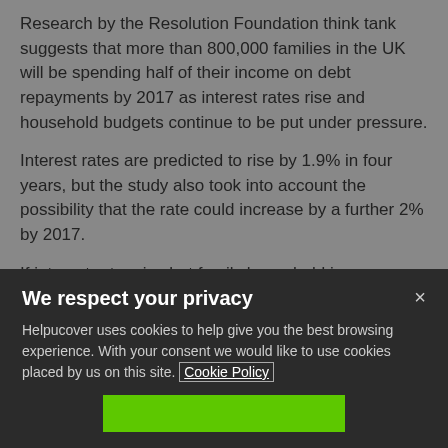Research by the Resolution Foundation think tank suggests that more than 800,000 families in the UK will be spending half of their income on debt repayments by 2017 as interest rates rise and household budgets continue to be put under pressure.
Interest rates are predicted to rise by 1.9% in four years, but the study also took into account the possibility that the rate could increase by a further 2% by 2017.
If interest rates rise but family household income growth is strong, some 700,000 would be spending more than half their income on repayments. But if household income growth is weak, the figure would be over 800,000.
Matthew Whit... senior... Resolution Foundation...
We respect your privacy
Helpucover uses cookies to help give you the best browsing experience. With your consent we would like to use cookies placed by us on this site. Cookie Policy